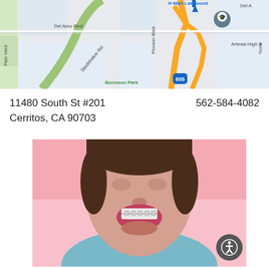[Figure (map): Google Maps view showing area around 11480 South St, Cerritos, CA. Visible streets include Del Amo Blvd, Studebaker Rd, Pioneer Blvd, Palo Verde. Highway 605 interchange visible. Artesia High School and Burreson Park labeled. Navigation pin shown.]
11480 South St #201
Cerritos, CA 90703
562-584-4082
[Figure (photo): Woman with short brown hair wearing a teal sweater, showing dental braces on a pink background, mouth open wide showing teeth with braces.]